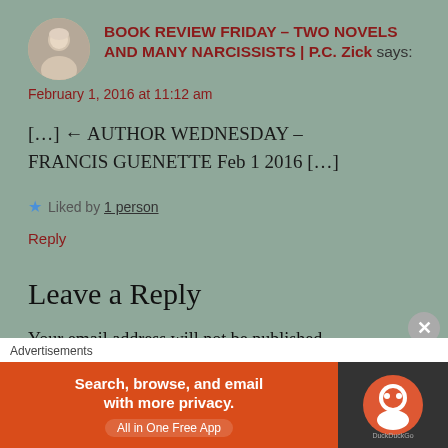[Figure (photo): Circular avatar photo of a woman with white/blonde hair]
BOOK REVIEW FRIDAY – TWO NOVELS AND MANY NARCISSISTS | P.C. Zick says:
February 1, 2016 at 11:12 am
[…] ← AUTHOR WEDNESDAY – FRANCIS GUENETTE Feb 1 2016 […]
★ Liked by 1 person
Reply
Leave a Reply
Your email address will not be published.
[Figure (infographic): DuckDuckGo advertisement banner: Search, browse, and email with more privacy. All in One Free App]